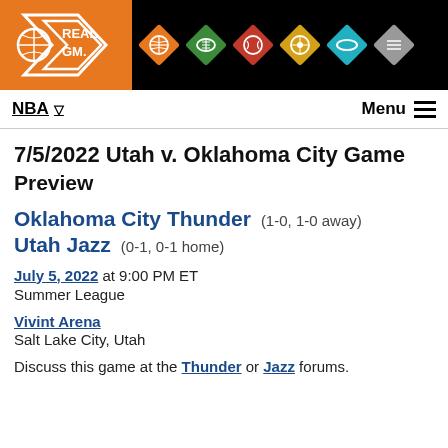[Figure (logo): RealGM logo in orange with basketball and arrow graphic, followed by colored sport icons (basketball, football, baseball, film reel, hockey puck, other sports) on black background]
NBA▽   Menu ≡
7/5/2022 Utah v. Oklahoma City Game Preview
Oklahoma City Thunder (1-0, 1-0 away)
Utah Jazz (0-1, 0-1 home)
July 5, 2022 at 9:00 PM ET
Summer League
Vivint Arena
Salt Lake City, Utah
Discuss this game at the Thunder or Jazz forums.